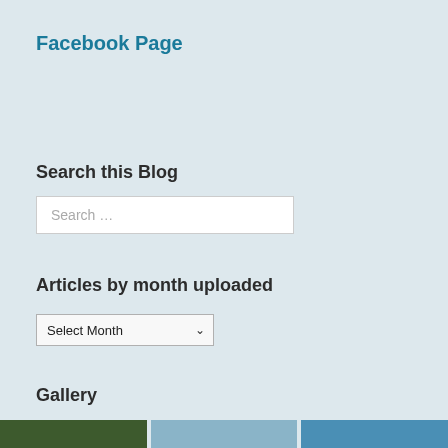Facebook Page
Search this Blog
Search …
Articles by month uploaded
Select Month
Gallery
[Figure (photo): Three partial gallery thumbnail images at the bottom of the page]